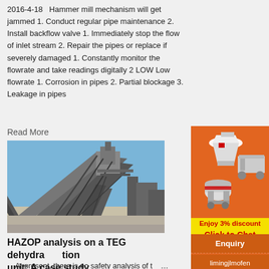2016-4-18   Hammer mill mechanism will get jammed 1. Conduct regular pipe maintenance 2. Install backflow valve 1. Immediately stop the flow of inlet stream 2. Repair the pipes or replace if severely damaged 1. Constantly monitor the flowrate and take readings digitally 2 LOW Low flowrate 1. Corrosion in pipes 2. Partial blockage 3. Leakage in pipes
Read More
[Figure (photo): Industrial conveyor belt structure and processing equipment photographed against a clear blue sky]
HAZOP analysis on a TEG dehydration unit: A case study ...
At present, there is no safety analysis of the hammer mill thermal desorption device, in order to reduce the risk of hammer mill thermal desorption during the production process, achieving i...
[Figure (photo): Advertisement sidebar showing industrial crushing/milling machines on orange background with 'Enjoy 3% discount' and 'Click to Chat' buttons]
Enquiry
limingjlmofen@sina.com